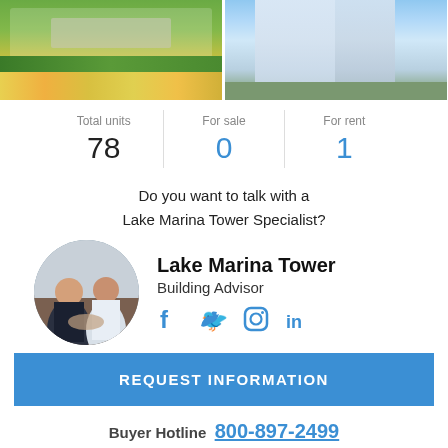[Figure (photo): Two property photos side by side: left shows a building sign with colorful flower garden, right shows a modern high-rise condominium building exterior]
| Total units | For sale | For rent |
| --- | --- | --- |
| 78 | 0 | 1 |
Do you want to talk with a Lake Marina Tower Specialist?
Lake Marina Tower
Building Advisor
[Figure (photo): Circular photo of two men in business attire shaking hands or meeting]
REQUEST INFORMATION
Buyer Hotline 800-897-2499